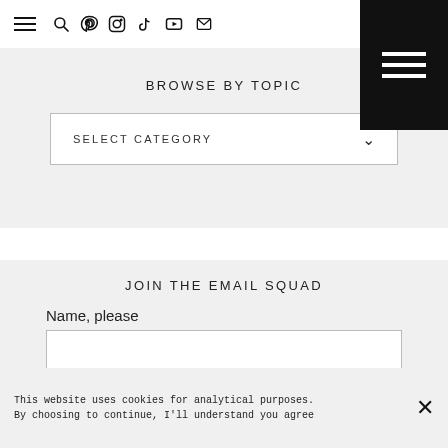Navigation bar with hamburger menu, search, pinterest, instagram, tiktok, youtube, email icons
BROWSE BY TOPIC
SELECT CATEGORY
JOIN THE EMAIL SQUAD
Name, please
Email Address, too
This website uses cookies for analytical purposes. By choosing to continue, I'll understand you agree